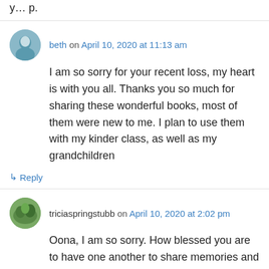y...p.
beth on April 10, 2020 at 11:13 am
I am so sorry for your recent loss, my heart is with you all. Thanks you so much for sharing these wonderful books, most of them were new to me. I plan to use them with my kinder class, as well as my grandchildren
↳ Reply
triciaspringstubb on April 10, 2020 at 2:02 pm
Oona, I am so sorry. How blessed you are to have one another to share memories and comfort now. Thanks for some titles I didn't know and I'll look forward to sharing with kinder kids.